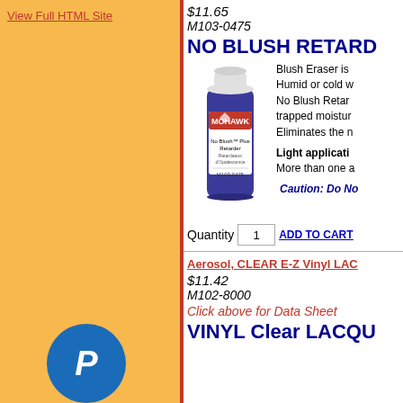View Full HTML Site
$11.65
M103-0475
NO BLUSH RETARD...
[Figure (photo): Mohawk No Blush Plus Retarder aerosol spray can, M103-0475]
Blush Eraser is ... Humid or cold ... No Blush Retar... trapped moistur... Eliminates the n...
Light applicati... More than one a...
Caution: Do No...
Quantity 1 ADD TO CART
Aerosol, CLEAR E-Z Vinyl LAC...
$11.42
M102-8000
Click above for Data Sheet
VINYL Clear LACQU...
[Figure (logo): PayPal logo circle button]